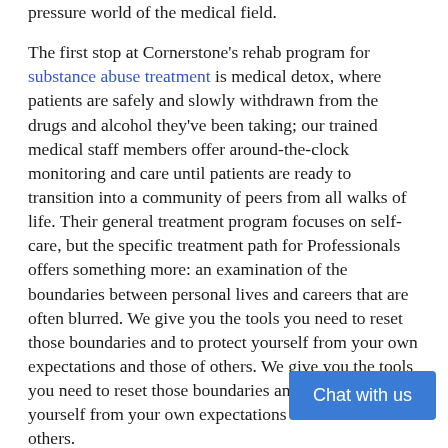pressure world of the medical field.
The first stop at Cornerstone's rehab program for substance abuse treatment is medical detox, where patients are safely and slowly withdrawn from the drugs and alcohol they've been taking; our trained medical staff members offer around-the-clock monitoring and care until patients are ready to transition into a community of peers from all walks of life. Their general treatment program focuses on self-care, but the specific treatment path for Professionals offers something more: an examination of the boundaries between personal lives and careers that are often blurred. We give you the tools you need to reset those boundaries and to protect yourself from your own expectations and those of others. We give you the tools you need to reset those boundaries and to protect yourself from your own expectations and those of others.
Chat with us